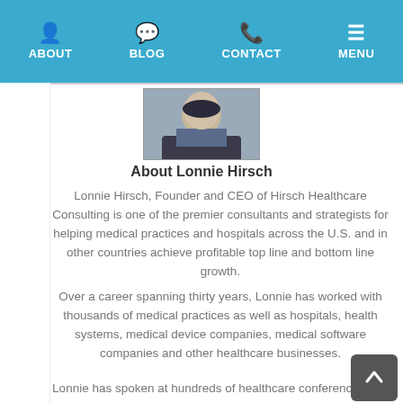ABOUT | BLOG | CONTACT | MENU
[Figure (photo): Headshot photo of Lonnie Hirsch in a dark blazer with blue shirt]
About Lonnie Hirsch
Lonnie Hirsch, Founder and CEO of Hirsch Healthcare Consulting is one of the premier consultants and strategists for helping medical practices and hospitals across the U.S. and in other countries achieve profitable top line and bottom line growth.
Over a career spanning thirty years, Lonnie has worked with thousands of medical practices as well as hospitals, health systems, medical device companies, medical software companies and other healthcare businesses.
Lonnie has spoken at hundreds of healthcare conferences and has authored numerous articles in healthcare business publications. He